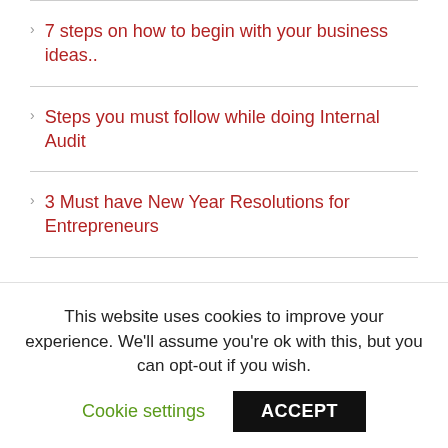7 steps on how to begin with your business ideas..
Steps you must follow while doing Internal Audit
3 Must have New Year Resolutions for Entrepreneurs
Recent Comments
Suresh on Does India Need an E-Commerce Regulatory Authority?
This website uses cookies to improve your experience. We'll assume you're ok with this, but you can opt-out if you wish.
Cookie settings | ACCEPT